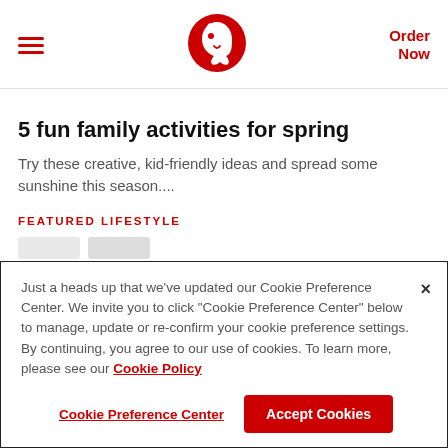[Figure (logo): Chick-fil-A red chicken logo centered in header]
5 fun family activities for spring
Try these creative, kid-friendly ideas and spread some sunshine this season....
FEATURED LIFESTYLE
Just a heads up that we've updated our Cookie Preference Center. We invite you to click "Cookie Preference Center" below to manage, update or re-confirm your cookie preference settings. By continuing, you agree to our use of cookies. To learn more, please see our Cookie Policy
Cookie Preference Center | Accept Cookies